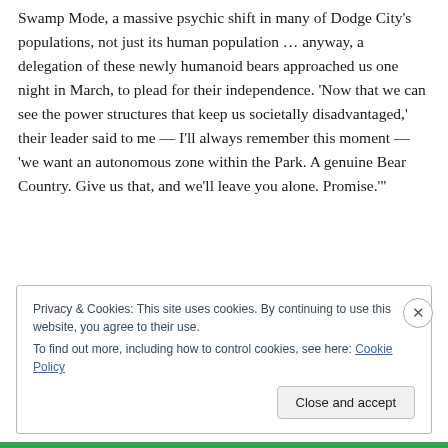Swamp Mode, a massive psychic shift in many of Dodge City's populations, not just its human population … anyway, a delegation of these newly humanoid bears approached us one night in March, to plead for their independence. 'Now that we can see the power structures that keep us societally disadvantaged,' their leader said to me — I'll always remember this moment — 'we want an autonomous zone within the Park. A genuine Bear Country. Give us that, and we'll leave you alone. Promise.'
Privacy & Cookies: This site uses cookies. By continuing to use this website, you agree to their use.
To find out more, including how to control cookies, see here: Cookie Policy